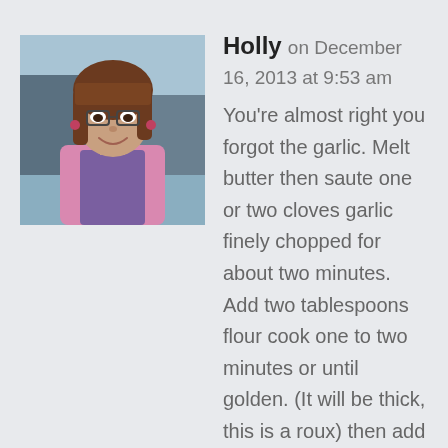[Figure (photo): Profile photo of a woman with glasses, brown hair, wearing a pink top, smiling outdoors]
Holly on December 16, 2013 at 9:53 am
You're almost right you forgot the garlic. Melt butter then saute one or two cloves garlic finely chopped for about two minutes. Add two tablespoons flour cook one to two minutes or until golden. (It will be thick, this is a roux) then add heavy cream and whole milk. Stir constantly